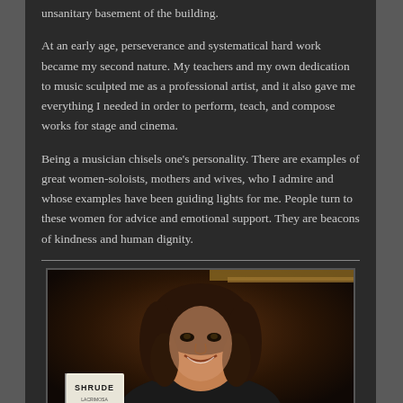unsanitary basement of the building.

At an early age, perseverance and systematical hard work became my second nature. My teachers and my own dedication to music sculpted me as a professional artist, and it also gave me everything I needed in order to perform, teach, and compose works for stage and cinema.

Being a musician chisels one's personality. There are examples of great women-soloists, mothers and wives, who I admire and whose examples have been guiding lights for me. People turn to these women for advice and emotional support. They are beacons of kindness and human dignity.
[Figure (photo): Portrait photo of a woman with shoulder-length brown wavy hair, smiling, seated near a piano. A book or sign labeled 'SHRUDE' is visible in the lower left foreground.]